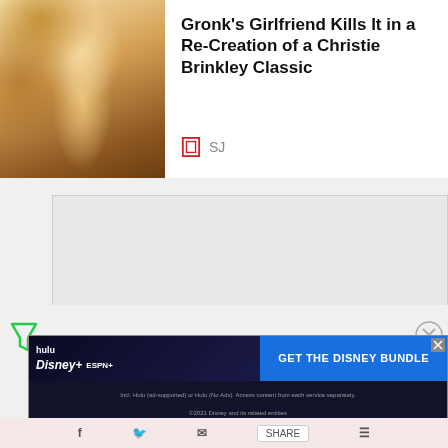[Figure (photo): Photo of a blonde woman in a leopard print swimsuit top]
Gronk's Girlfriend Kills It in a Re-Creation of a Christie Brinkley Classic
SJ
[Figure (screenshot): Advertisement placeholder — empty gray box]
[Figure (infographic): Disney Bundle advertisement banner: Hulu, Disney+, ESPN+ logos with text 'GET THE DISNEY BUNDLE'. Fine print: 'Incl. Hulu (ad-supported) or Hulu (No Ads). Access content from each service separately. ©2021 Disney and its related entities']